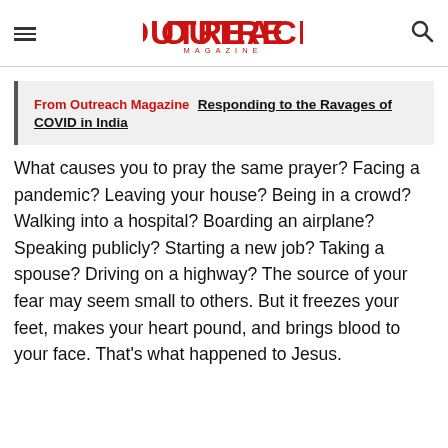Outreach Magazine
From Outreach Magazine  Responding to the Ravages of COVID in India
What causes you to pray the same prayer? Facing a pandemic? Leaving your house? Being in a crowd? Walking into a hospital? Boarding an airplane? Speaking publicly? Starting a new job? Taking a spouse? Driving on a highway? The source of your fear may seem small to others. But it freezes your feet, makes your heart pound, and brings blood to your face. That’s what happened to Jesus.